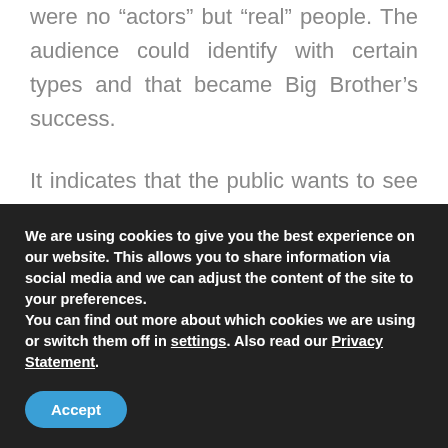were no “actors” but “real” people. The audience could identify with certain types and that became Big Brother’s success.
It indicates that the public wants to see the person as he is. They immediately see through an “act”. Therefore, the remaining contestants, Bart, Ruud and Willem were so successful. They were just themselves.
We are using cookies to give you the best experience on our website. This allows you to share information via social media and we can adjust the content of the site to your preferences.
You can find out more about which cookies we are using or switch them off in settings. Also read our Privacy Statement.
Accept